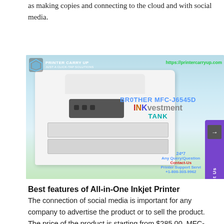as making copies and connecting to the cloud and with social media.
[Figure (photo): Brother MFC-J6545D INKvestment Tank printer image with Printer Carry Up logo, website URL https://printercarryup.com, product name, and 24*7 contact support information overlay. Purple side tab with Contact Us button and navigation arrows.]
Best features of All-in-One Inkjet Printer
The connection of social media is important for any company to advertise the product or to sell the product. The price of the product is starting from $285.00. MFC-J6545DWhttps://printercarryup.com/ can be connected to your network through Ethernet or wireless through 802.11b/g/n or